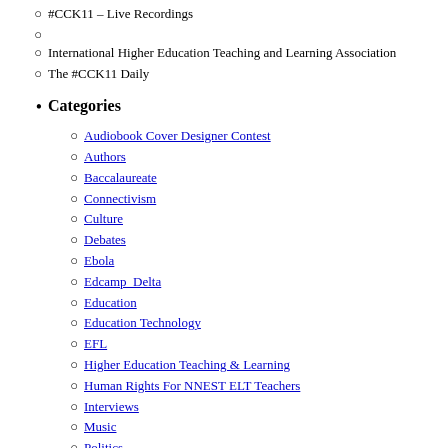#CCK11 – Live Recordings
International Higher Education Teaching and Learning Association
The #CCK11 Daily
Categories
Audiobook Cover Designer Contest
Authors
Baccalaureate
Connectivism
Culture
Debates
Ebola
Edcamp_Delta
Education
Education Technology
EFL
Higher Education Teaching & Learning
Human Rights For NNEST ELT Teachers
Interviews
Music
Politics